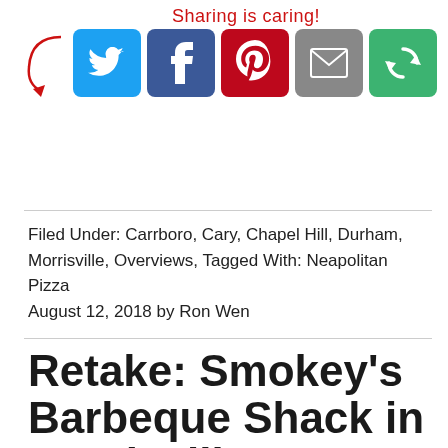[Figure (infographic): Sharing is caring! social share buttons for Twitter, Facebook, Pinterest, Email, and a green circular arrows icon, with a red cursive label and red arrow]
Filed Under: Carrboro, Cary, Chapel Hill, Durham, Morrisville, Overviews, Tagged With: Neapolitan Pizza
August 12, 2018 by Ron Wen
Retake: Smokey's Barbeque Shack in Morrisville